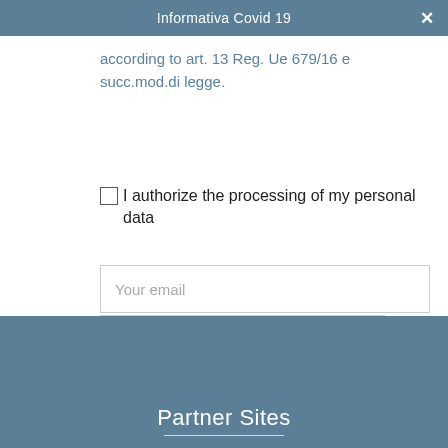Informativa Covid 19
[Figure (logo): Hotel logo with anchor and stars, HOTEL ABC, ****5]
according to art. 13 Reg. Ue 679/16 e succ.mod.di legge.
I authorize the processing of my personal data
Your email
[Figure (screenshot): reCAPTCHA widget: checkbox labeled 'I'm not a robot' with reCAPTCHA logo, Privacy · Terms]
SIGN UP
Partner Sites